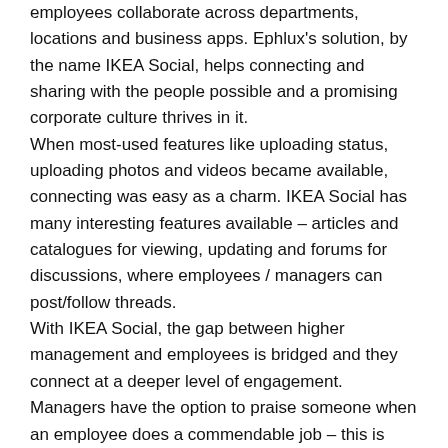employees collaborate across departments, locations and business apps. Ephlux's solution, by the name IKEA Social, helps connecting and sharing with the people possible and a promising corporate culture thrives in it.
When most-used features like uploading status, uploading photos and videos became available, connecting was easy as a charm. IKEA Social has many interesting features available – articles and catalogues for viewing, updating and forums for discussions, where employees / managers can post/follow threads.
With IKEA Social, the gap between higher management and employees is bridged and they connect at a deeper level of engagement. Managers have the option to praise someone when an employee does a commendable job – this is what builds a culture of positive competitiveness. Customizing desktops like you fancy makes collaboration even more convenient – users are able to add the events/ groups they are part of or are interested in and remove